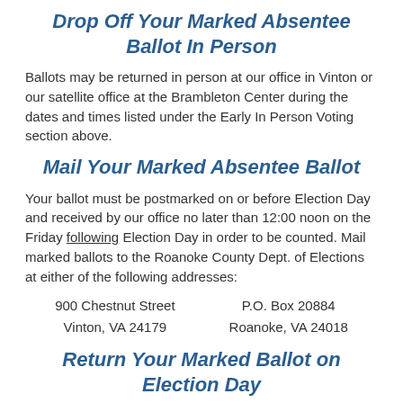Drop Off Your Marked Absentee Ballot In Person
Ballots may be returned in person at our office in Vinton or our satellite office at the Brambleton Center during the dates and times listed under the Early In Person Voting section above.
Mail Your Marked Absentee Ballot
Your ballot must be postmarked on or before Election Day and received by our office no later than 12:00 noon on the Friday following Election Day in order to be counted. Mail marked ballots to the Roanoke County Dept. of Elections at either of the following addresses:
900 Chestnut Street
Vinton, VA 24179

P.O. Box 20884
Roanoke, VA 24018
Return Your Marked Ballot on Election Day